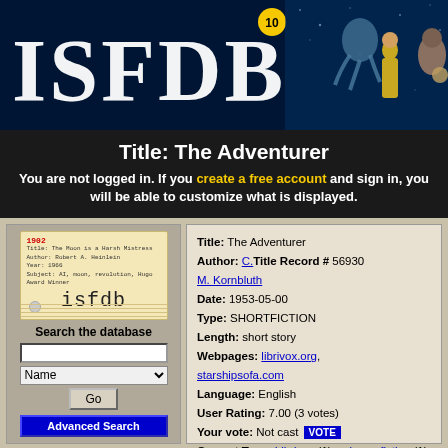[Figure (screenshot): ISFDB website banner with dark blue starry background, large white bold ISFDB text with a yellow circled '10' badge, and fantasy figures on the right side]
Title: The Adventurer
You are not logged in. If you create a free account and sign in, you will be able to customize what is displayed.
[Figure (illustration): Library card catalog image showing isfdb logo with monospace text and card lines]
Search the database
Name [dropdown] Go Advanced Search
| Title: | The Adventurer |
| Author: | C.Title Record # 56930 M. Kornbluth |
| Date: | 1953-05-00 |
| Type: | SHORTFICTION |
| Length: | short story |
| Webpages: | librivox.org, starshipsofa.com |
| Language: | English |
| User Rating: | 7.00 (3 votes) |
| Your vote: | Not cast VOTE |
| Current Tags: | Librivox (1), science fiction (1) Add Tags |